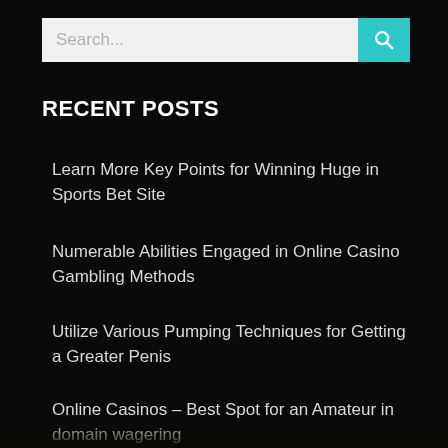[Figure (screenshot): Search bar with text input field showing placeholder 'Search...' and a teal/cyan search button with magnifying glass icon]
RECENT POSTS
Learn More Key Points for Winning Huge in Sports Bet Site
Numerable Abilities Engaged in Online Casino Gambling Methods
Utilize Various Pumping Techniques for Getting a Greater Penis
Online Casinos – Best Spot for an Amateur in domain wagering
Live Poker Room – Which One Could it is prudent for you to Pick?